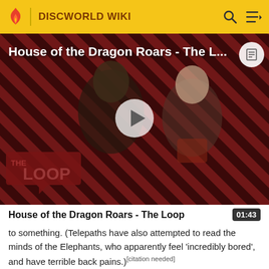DISCWORLD WIKI
[Figure (screenshot): Video thumbnail showing House of the Dragon Roars - The Loop, with two characters on a striped red/dark background and The Loop logo overlay. White play button in center.]
House of the Dragon Roars - The Loop
to something. (Telepaths have also attempted to read the minds of the Elephants, who apparently feel 'incredibly bored', and have terrible back pains.)[citation needed]